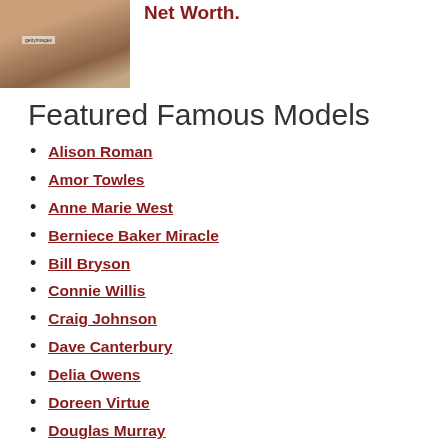[Figure (photo): Photo of a woman in a black outfit, with a Getty Images watermark badge visible]
Net Worth.
Featured Famous Models
Alison Roman
Amor Towles
Anne Marie West
Berniece Baker Miracle
Bill Bryson
Connie Willis
Craig Johnson
Dave Canterbury
Delia Owens
Doreen Virtue
Douglas Murray